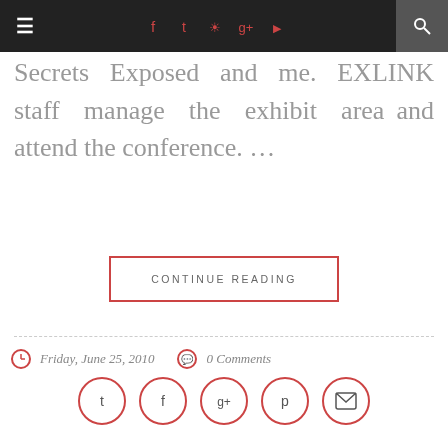≡  [social icons: facebook, twitter, instagram, google+, youtube]  [search]
Secrets Exposed and me. EXLINK staff manage the exhibit area and attend the conference. …
CONTINUE READING
Friday, June 25, 2010   0 Comments
[Figure (infographic): Social share icons: twitter, facebook, google+, pinterest, email — each in a red-outlined circle]